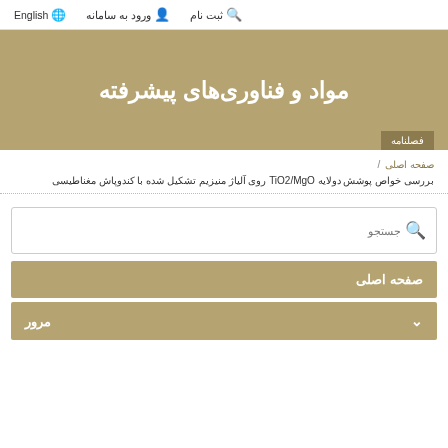English  ورود به سامانه  ثبت نام
مواد و فناوری‌های پیشرفته
فصلنامه
صفحه اصلی / بررسی خواص پوشش دولایه TiO2/MgO روی آلیاژ منیزیم تشکیل شده با کندوپاش مغناطیسی
جستجو
صفحه اصلی
مرور